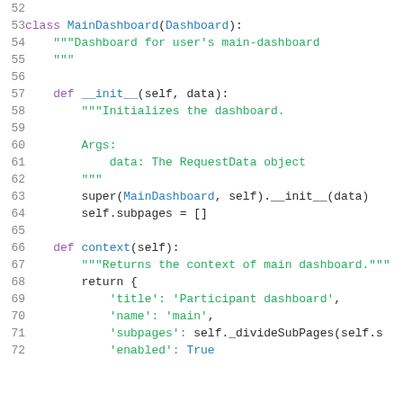[Figure (screenshot): Python source code snippet showing lines 52-72 of a file. Defines class MainDashboard(Dashboard) with __init__ and context methods, using syntax highlighting with purple keywords, blue function names, and green strings/docstrings.]